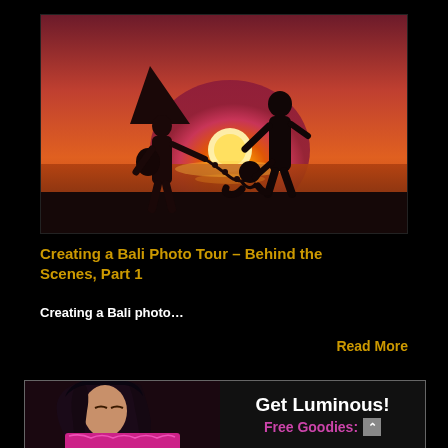[Figure (photo): Silhouette photo of three people (one wearing a conical hat, one standing, one kneeling) against a vivid orange-pink sunset sky over a beach or ocean horizon, with a bright sun near the horizon.]
Creating a Bali Photo Tour – Behind the Scenes, Part 1
Creating a Bali photo...
Read More
[Figure (infographic): Bottom banner showing a partial photo of a woman with dark hair and a pink patterned garment on the left, and on the right a dark background with white bold text 'Get Luminous!' and pink text 'Free Goodies:' with an upward caret icon.]